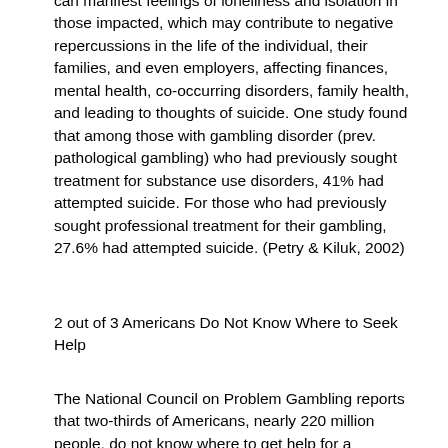can manifest feelings of loneliness and isolation in those impacted, which may contribute to negative repercussions in the life of the individual, their families, and even employers, affecting finances, mental health, co-occurring disorders, family health, and leading to thoughts of suicide. One study found that among those with gambling disorder (prev. pathological gambling) who had previously sought treatment for substance use disorders, 41% had attempted suicide. For those who had previously sought professional treatment for their gambling, 27.6% had attempted suicide. (Petry & Kiluk, 2002)
2 out of 3 Americans Do Not Know Where to Seek Help
The National Council on Problem Gambling reports that two-thirds of Americans, nearly 220 million people, do not know where to get help for a